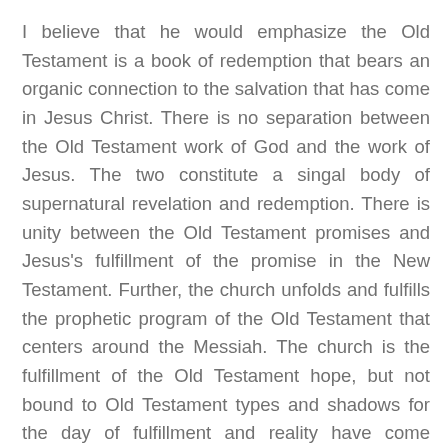I believe that he would emphasize the Old Testament is a book of redemption that bears an organic connection to the salvation that has come in Jesus Christ. There is no separation between the Old Testament work of God and the work of Jesus. The two constitute a singal body of supernatural revelation and redemption. There is unity between the Old Testament promises and Jesus's fulfillment of the promise in the New Testament. Further, the church unfolds and fulfills the prophetic program of the Old Testament that centers around the Messiah. The church is the fulfillment of the Old Testament hope, but not bound to Old Testament types and shadows for the day of fulfillment and reality have come through the person and work of Jesus Christ.